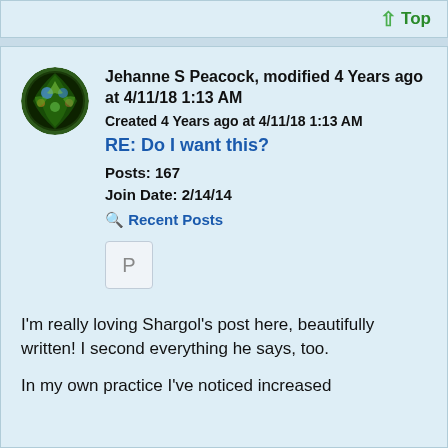↑ Top
Jehanne S Peacock, modified 4 Years ago at 4/11/18 1:13 AM
Created 4 Years ago at 4/11/18 1:13 AM
RE: Do I want this?
Posts: 167
Join Date: 2/14/14
🔍 Recent Posts
[Figure (other): P badge icon]
I'm really loving Shargol's post here, beautifully written! I second everything he says, too.

In my own practice I've noticed increased